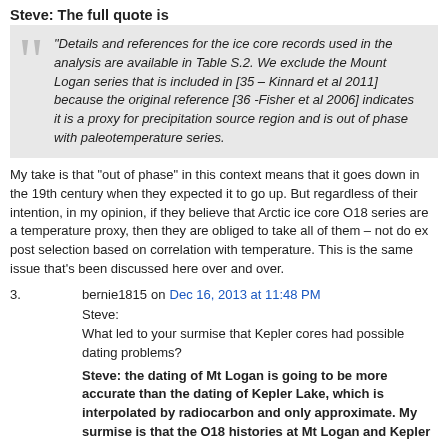Steve: The full quote is
“Details and references for the ice core records used in the analysis are available in Table S.2. We exclude the Mount Logan series that is included in [35 – Kinnard et al 2011] because the original reference [36 -Fisher et al 2006] indicates it is a proxy for precipitation source region and is out of phase with paleotemperature series.
My take is that “out of phase” in this context means that it goes down in the 19th century when they expected it to go up. But regardless of their intention, in my opinion, if they believe that Arctic ice core O18 series are a temperature proxy, then they are obliged to take all of them – not do ex post selection based on correlation with temperature. This is the same issue that’s been discussed here over and over.
3. bernie1815 on Dec 16, 2013 at 11:48 PM
Steve:
What led to your surmise that Kepler cores had possible dating problems?
Steve: the dating of Mt Logan is going to be more accurate than the dating of Kepler Lake, which is interpolated by radiocarbon and only approximate. My surmise is that the O18 histories at Mt Logan and Kepler